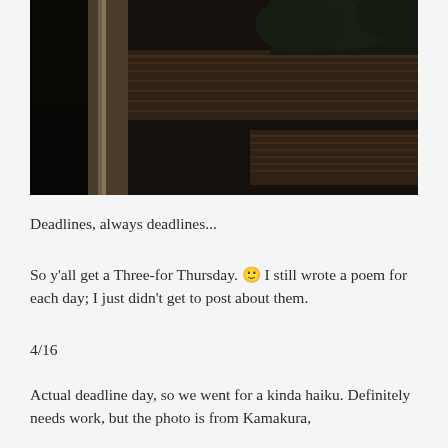[Figure (photo): A dark outdoor photograph showing wooden torii gate or wooden architectural elements with greenery/trees in the background, taken in dim/dark lighting conditions.]
Deadlines, always deadlines...
So y’all get a Three-for Thursday. 🙂 I still wrote a poem for each day; I just didn’t get to post about them.
4/16
Actual deadline day, so we went for a kinda haiku. Definitely needs work, but the photo is from Kamakura,